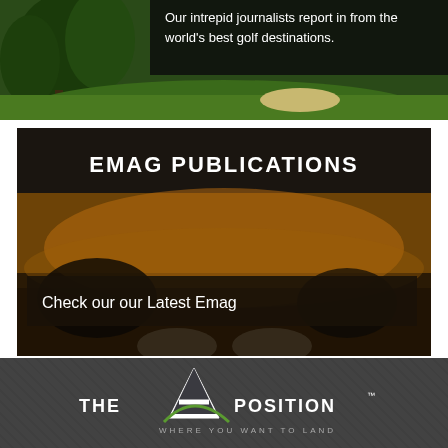[Figure (photo): Golf course photo with trees and green fairway, partially visible at top of page with text overlay: 'Our intrepid journalists report in from the world's best golf destinations.']
[Figure (photo): EMAG PUBLICATIONS banner with dark header and golden/sunset golf course background image. Contains a dark button reading 'Check our our Latest Emag']
[Figure (logo): The A Position logo — white letter A with green arc/swoosh, text 'THE A POSITION' and tagline 'WHERE YOU WANT TO LAND']
A network of great golf and travel writing. Brought to you by trusted journalists.
© The A Position
Connect with us:
[Figure (illustration): Three social media icons (Facebook, Twitter, RSS/podcast) displayed as circular buttons at bottom of page]